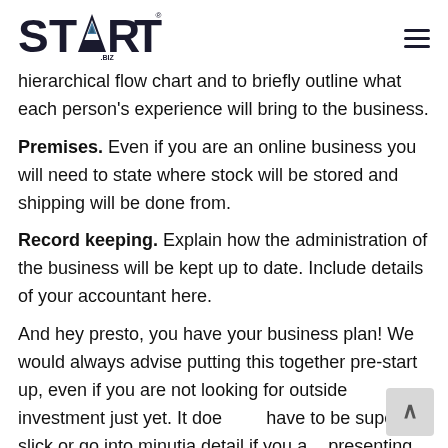START.BIZ
hierarchical flow chart and to briefly outline what each person's experience will bring to the business.
Premises. Even if you are an online business you will need to state where stock will be stored and shipping will be done from.
Record keeping. Explain how the administration of the business will be kept up to date. Include details of your accountant here.
And hey presto, you have your business plan! We would always advise putting this together pre-start up, even if you are not looking for outside investment just yet. It does not have to be super slick or go into minutia detail if you are presenting to people outside your business, it can be a great